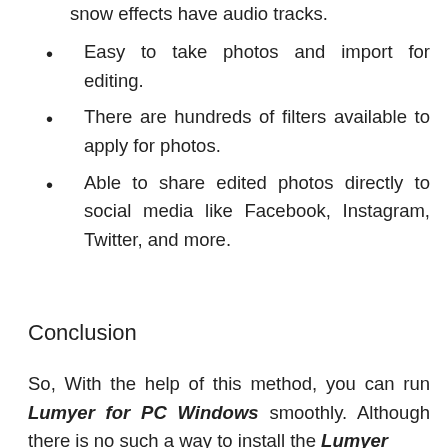snow effects have audio tracks.
Easy to take photos and import for editing.
There are hundreds of filters available to apply for photos.
Able to share edited photos directly to social media like Facebook, Instagram, Twitter, and more.
Conclusion
So, With the help of this method, you can run Lumyer for PC Windows smoothly. Although there is no such a way to install the Lumyer